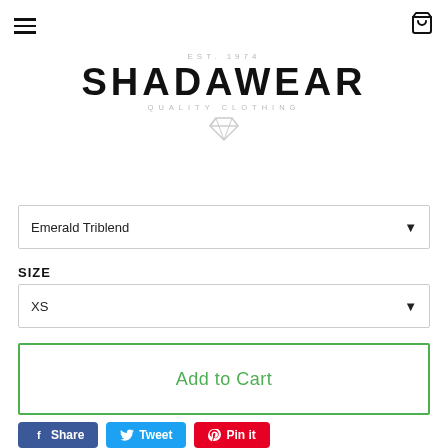Shadawear — EST. 1974 — QUALITY CLOTHING
[Figure (logo): Shadawear logo with EST. 1974 above, SHADAWEAR in large bold text, QUALITY CLOTHING below, and a diamond icon]
Emerald Triblend
SIZE
XS
Add to Cart
Share   Tweet   Pin it